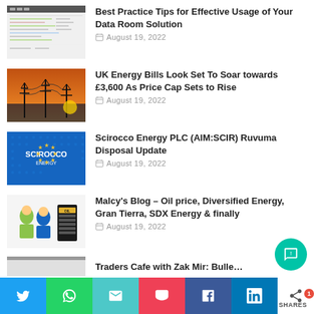[Figure (screenshot): Thumbnail showing a spreadsheet/data room interface screenshot]
Best Practice Tips for Effective Usage of Your Data Room Solution
August 19, 2022
[Figure (photo): Photo of electricity pylons against an orange sunset sky]
UK Energy Bills Look Set To Soar towards £3,600 As Price Cap Sets to Rise
August 19, 2022
[Figure (logo): Scirocco Energy logo on blue background with stars]
Scirocco Energy PLC (AIM:SCIR) Ruvuma Disposal Update
August 19, 2022
[Figure (photo): Photo of businesspeople with an oil/energy company logo]
Malcy's Blog – Oil price, Diversified Energy, Gran Tierra, SDX Energy & finally
August 19, 2022
Traders Cafe with Zak Mir: Bullet…